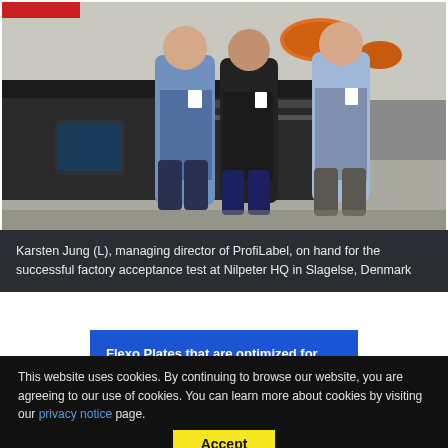[Figure (photo): Three men standing in front of a printing/label machine in an industrial facility. The machine is large and dark-colored with an orange roll visible. A tablet/touchscreen is mounted on the machine.]
Karsten Jung (L), managing director of ProfiLabel, on hand for the successful factory acceptance test at Nilpeter HQ in Slagelse, Denmark
Flexo Plates that are optimized for UV LED exposure deliver benefits to you!
This website uses cookies. By continuing to browse our website, you are agreeing to our use of cookies. You can learn more about cookies by visiting our privacy notice page.